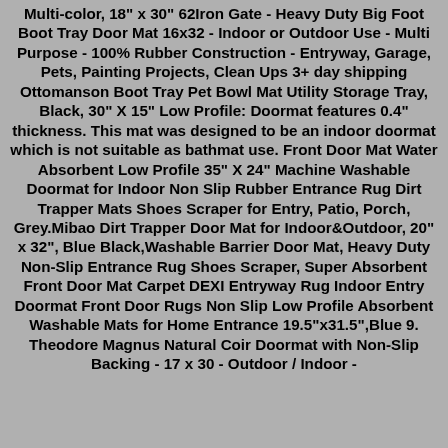Multi-color, 18" x 30" 62Iron Gate - Heavy Duty Big Foot Boot Tray Door Mat 16x32 - Indoor or Outdoor Use - Multi Purpose - 100% Rubber Construction - Entryway, Garage, Pets, Painting Projects, Clean Ups 3+ day shipping Ottomanson Boot Tray Pet Bowl Mat Utility Storage Tray, Black, 30" X 15" Low Profile: Doormat features 0.4" thickness. This mat was designed to be an indoor doormat which is not suitable as bathmat use. Front Door Mat Water Absorbent Low Profile 35" X 24" Machine Washable Doormat for Indoor Non Slip Rubber Entrance Rug Dirt Trapper Mats Shoes Scraper for Entry, Patio, Porch, Grey.Mibao Dirt Trapper Door Mat for Indoor&Outdoor, 20" x 32", Blue Black,Washable Barrier Door Mat, Heavy Duty Non-Slip Entrance Rug Shoes Scraper, Super Absorbent Front Door Mat Carpet DEXI Entryway Rug Indoor Entry Doormat Front Door Rugs Non Slip Low Profile Absorbent Washable Mats for Home Entrance 19.5"x31.5",Blue 9. Theodore Magnus Natural Coir Doormat with Non-Slip Backing - 17 x 30 - Outdoor / Indoor -